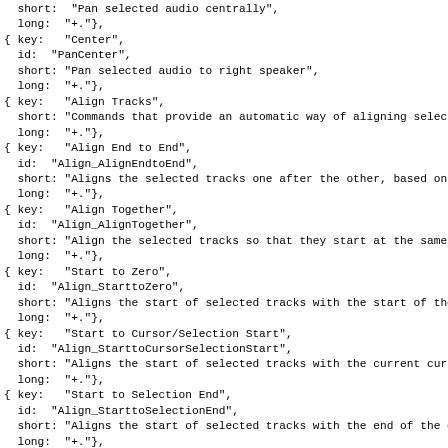short:  "Pan selected audio centrally",
  long:  "+."},
{ key:   "Center",
  id:  "PanCenter",
  short: "Pan selected audio to right speaker",
  long:  "+."},
{ key:   "Align Tracks",
  short: "Commands that provide an automatic way of aligning selected
  long:  "+."},
{ key:   "Align End to End",
  id:  "Align_AlignEndtoEnd",
  short: "Aligns the selected tracks one after the other, based on the
  long:  "+."},
{ key:   "Align Together",
  id:  "Align_AlignTogether",
  short: "Align the selected tracks so that they start at the same (av
  long:  "+."},
{ key:   "Start to Zero",
  id:  "Align_StarttoZero",
  short: "Aligns the start of selected tracks with the start of the pr
  long:  "+."},
{ key:   "Start to Cursor/Selection Start",
  id:  "Align_StarttoCursorSelectionStart",
  short: "Aligns the start of selected tracks with the current cursor
  long:  "+."},
{ key:   "Start to Selection End",
  id:  "Align_StarttoSelectionEnd",
  short: "Aligns the start of selected tracks with the end of the curr
  long:  "+."},
{ key:   "End to Cursor/Selection Start",
  id:  "Align_EndtoCursorSelectionStart",
  short: "Aligns the end of selected tracks with the current cursor po
  long:  "+."},
{ key:   "End to Selection End",
  id:  "Align_EndtoSelectionEnd",
  short: "Aligns the end of selected tracks with the end of the curren
  long:  "+."},
{ key:   "Move Selection with Tracks (on/off)",